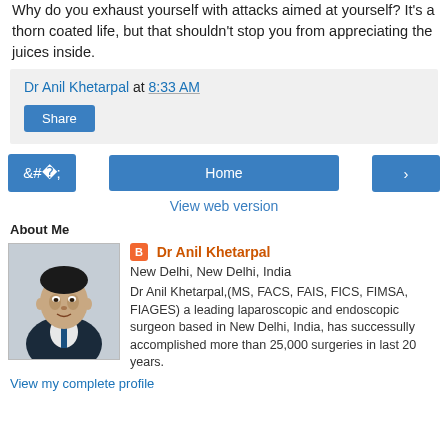Why do you exhaust yourself with attacks aimed at yourself? It's a thorn coated life, but that shouldn't stop you from appreciating the juices inside.
Dr Anil Khetarpal at 8:33 AM
Share
Home
View web version
About Me
Dr Anil Khetarpal
New Delhi, New Delhi, India
Dr Anil Khetarpal,(MS, FACS, FAIS, FICS, FIMSA, FIAGES) a leading laparoscopic and endoscopic surgeon based in New Delhi, India, has successully accomplished more than 25,000 surgeries in last 20 years.
View my complete profile